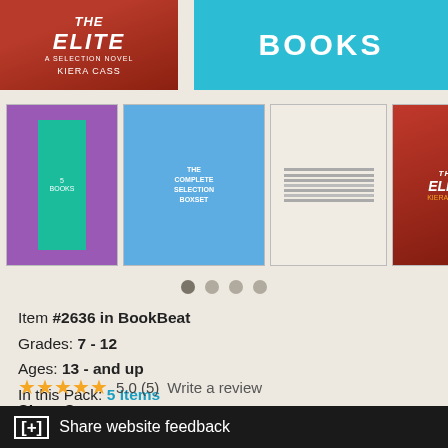[Figure (screenshot): Top banner with book cover of 'The Elite' by Kiera Cass on left and 'BOOKS' label on cyan background on right]
[Figure (screenshot): Carousel of 6 book thumbnail images including The Selection series books]
Item #2636 in BookBeat
Grades: 7 - 12
Ages: 13 - and up
In this Pack: 5 Items
Series: The Selection
★★★★★ 5.0 (5)   Write a review
Short Summary
It's Cinderella meets The Hunger Games when a teen girl enters a
[+] Share website feedback